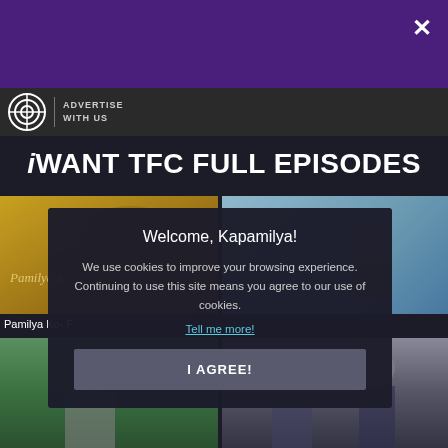[Figure (screenshot): Top purple navigation bar with close (X) button]
[Figure (logo): ABS-CBN logo with ADVERTISE WITH US text]
iWANT TFC FULL EPISODES
[Figure (screenshot): Thumbnail grid showing TV show episode thumbnails: Pamilya Ko top left, office scene top right, two more thumbnails below]
Pamilya Ko- F
Welcome, Kapamilya!
We use cookies to improve your browsing experience.
Continuing to use this site means you agree to our use of cookies.
Tell me more!
I AGREE!